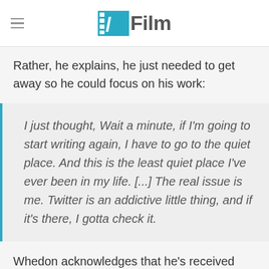/Film
Rather, he explains, he just needed to get away so he could focus on his work:
I just thought, Wait a minute, if I'm going to start writing again, I have to go to the quiet place. And this is the least quiet place I've ever been in my life. [...] The real issue is me. Twitter is an addictive little thing, and if it's there, I gotta check it.
Whedon acknowledges that he's received some hateful messages, but is clear to draw a distinction between his experience and that of someone like